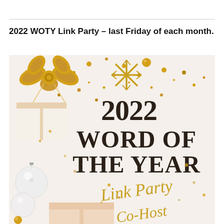2022 WOTY Link Party – last Friday of each month.
[Figure (illustration): Promotional graphic for the 2022 Word of the Year Link Party Co-Host, featuring gold gift bows, snowflake ornaments, white ornament balls, scattered gold confetti, and cursive/serif text reading '2022 WORD OF THE YEAR Link Party Co-Host' on a light background.]